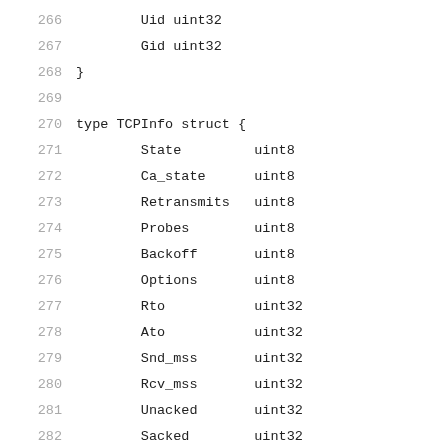266    Uid uint32
267    Gid uint32
268 }
269
270 type TCPInfo struct {
271    State         uint8
272    Ca_state      uint8
273    Retransmits   uint8
274    Probes        uint8
275    Backoff       uint8
276    Options       uint8
277    Rto           uint32
278    Ato           uint32
279    Snd_mss       uint32
280    Rcv_mss       uint32
281    Unacked       uint32
282    Sacked        uint32
283    Lost          uint32
284    Retrans       uint32
285    Fackets       uint32
286    Last_data_sent uint32